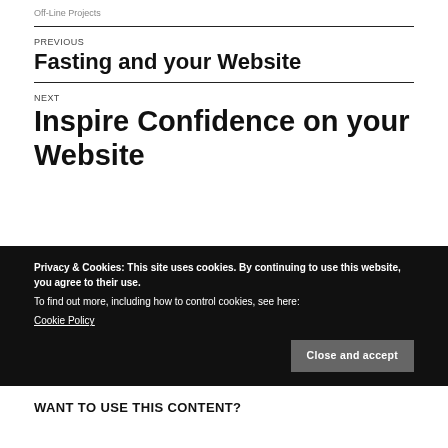Off-Line Projects
PREVIOUS
Fasting and your Website
NEXT
Inspire Confidence on your Website
Privacy & Cookies: This site uses cookies. By continuing to use this website, you agree to their use.
To find out more, including how to control cookies, see here:
Cookie Policy
Close and accept
WANT TO USE THIS CONTENT?